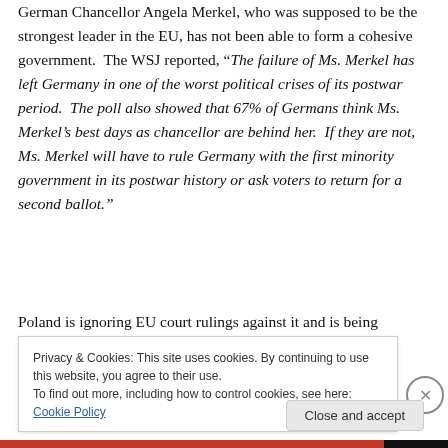German Chancellor Angela Merkel, who was supposed to be the strongest leader in the EU, has not been able to form a cohesive government.  The WSJ reported, "The failure of Ms. Merkel has left Germany in one of the worst political crises of its postwar period.  The poll also showed that 67% of Germans think Ms. Merkel's best days as chancellor are behind her.  If they are not, Ms. Merkel will have to rule Germany with the first minority government in its postwar history or ask voters to return for a second ballot."
Poland is ignoring EU court rulings against it and is being
Privacy & Cookies: This site uses cookies. By continuing to use this website, you agree to their use.
To find out more, including how to control cookies, see here: Cookie Policy